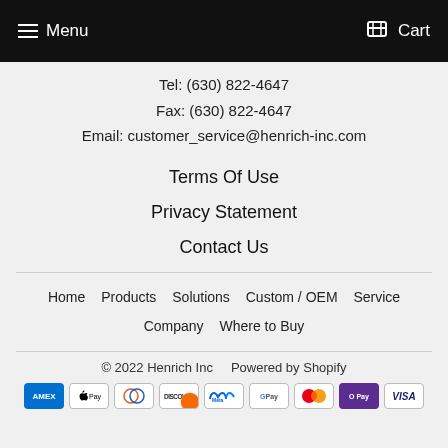Menu  Cart
Tel: (630) 822-4647
Fax: (630) 822-4647
Email: customer_service@henrich-inc.com
Terms Of Use
Privacy Statement
Contact Us
Home  Products  Solutions  Custom / OEM  Service  Company  Where to Buy
© 2022 Henrich Inc    Powered by Shopify